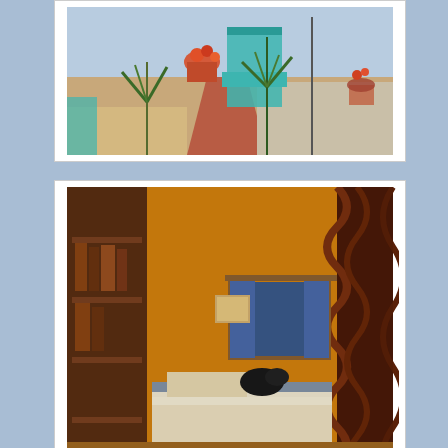[Figure (photo): Outdoor courtyard or terrace area of a building with teal/turquoise painted structures, potted plants with colorful flowers, desert plants including agave or yucca, and a red brick or tile pathway. Blue sky visible in background.]
[Figure (photo): Interior room photo showing a bedroom with orange/yellow painted walls, wooden bookshelves on the left, a spiral twisted wooden column on the right, a window with blue curtains, a white/cream bedspread on a bed, and what appears to be a dark animal (cat or dog) on the bed.]
We waited 10 months to be on the